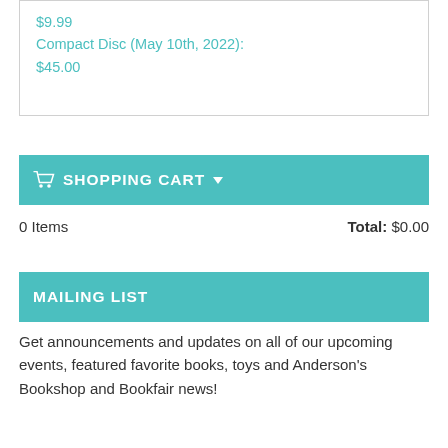$9.99
Compact Disc (May 10th, 2022): $45.00
SHOPPING CART
0 Items    Total: $0.00
MAILING LIST
Get announcements and updates on all of our upcoming events, featured favorite books, toys and Anderson's Bookshop and Bookfair news!
Sign Up Now!